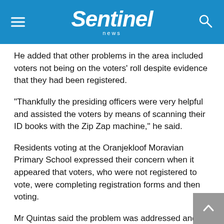Sentinel news
He added that other problems in the area included voters not being on the voters’ roll despite evidence that they had been registered.
“Thankfully the presiding officers were very helpful and assisted the voters by means of scanning their ID books with the Zip Zap machine,” he said.
Residents voting at the Oranjekloof Moravian Primary School expressed their concern when it appeared that voters, who were not registered to vote, were completing registration forms and then voting.
Mr Quintas said the problem was addressed and it turned out IEC officials were updating voters’ personal details and addresses.